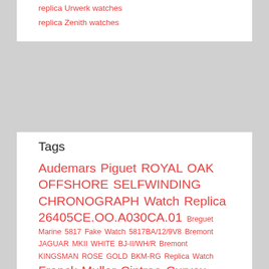replica Urwerk watches
replica Zenith watches
Tags
Audemars Piguet ROYAL OAK OFFSHORE SELFWINDING CHRONOGRAPH Watch Replica 26405CE.OO.A030CA.01 Breguet Marine 5817 Fake Watch 5817BA/12/9V8 Bremont JAGUAR MKII WHITE BJ-II/WH/R Bremont KINGSMAN ROSE GOLD BKM-RG Replica Watch Franck Muller Cintree Curvex Men Grande Date Replica Watch for Sale Cheap Price 8083 CC GD FO 5N B GRAHAM LONDON 2OVEVB15A CHRONOFIGHTER OVERSIZE DIVER replica watch Grand Seiko Spring